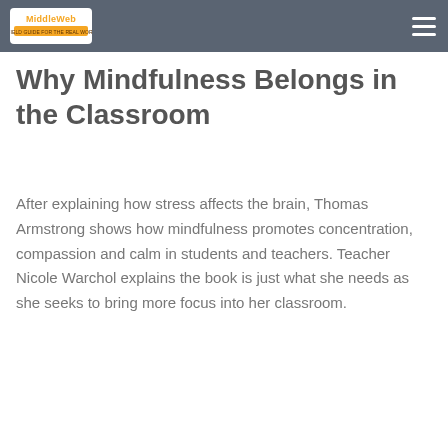MiddleWeb
Why Mindfulness Belongs in the Classroom
After explaining how stress affects the brain, Thomas Armstrong shows how mindfulness promotes concentration, compassion and calm in students and teachers. Teacher Nicole Warchol explains the book is just what she needs as she seeks to bring more focus into her classroom.